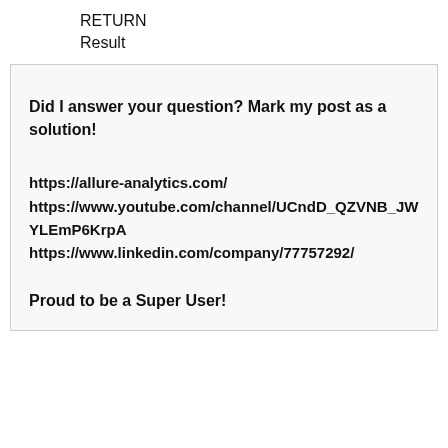RETURN
Result
Did I answer your question? Mark my post as a solution!

https://allure-analytics.com/
https://www.youtube.com/channel/UCndD_QZVNB_JWYLEmP6KrpA
https://www.linkedin.com/company/77757292/

Proud to be a Super User!